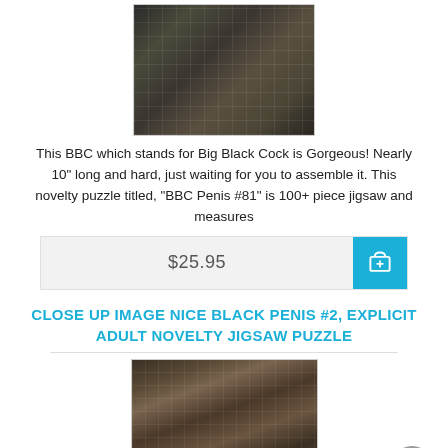[Figure (photo): Top portion of a jigsaw puzzle product image showing a close-up photo assembled as puzzle pieces]
This BBC which stands for Big Black Cock is Gorgeous! Nearly 10" long and hard, just waiting for you to assemble it. This novelty puzzle titled, "BBC Penis #81" is 100+ piece jigsaw and measures
$25.95
CLOSE UP IMAGE NICE BLACK PENIS #2, EXPLICIT ADULT NOVELTY JIGSAW PUZZLE
[Figure (photo): Bottom portion showing another jigsaw puzzle product image with explicit close-up photo assembled as puzzle pieces]